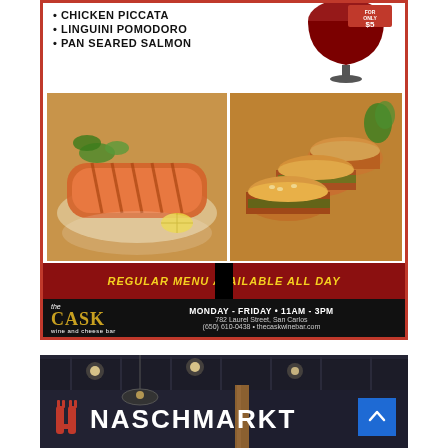[Figure (photo): Restaurant advertisement for The Cask wine and cheese bar showing menu items (Chicken Piccata, Linguini Pomodoro, Pan Seared Salmon), food photos (salmon dish and burgers), wine glass with FOR ONLY $5 promo, banner reading REGULAR MENU AVAILABLE ALL DAY, and contact info: Monday-Friday 11AM-3PM, 782 Laurel Street San Carlos, (650) 610-0438, thecaskwinebar.com]
[Figure (photo): Restaurant advertisement for Naschmarkt showing interior photo of restaurant with dark industrial ceiling and hanging lights, with large white text NASCHMARKT and red logo icon, and a blue scroll-to-top button]